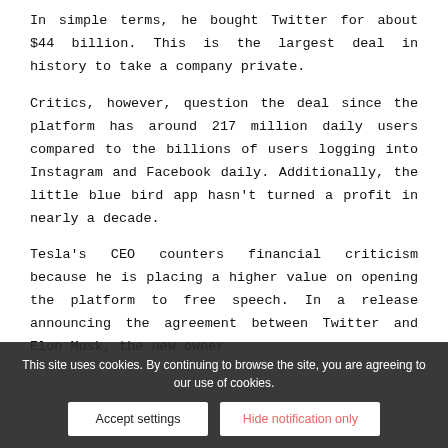In simple terms, he bought Twitter for about $44 billion. This is the largest deal in history to take a company private.
Critics, however, question the deal since the platform has around 217 million daily users compared to the billions of users logging into Instagram and Facebook daily. Additionally, the little blue bird app hasn't turned a profit in nearly a decade.
Tesla's CEO counters financial criticism because he is placing a higher value on opening the platform to free speech. In a release announcing the agreement between Twitter and Elon Musk, the new owner demo... square where... are debated" said Musk.
This site uses cookies. By continuing to browse the site, you are agreeing to our use of cookies.